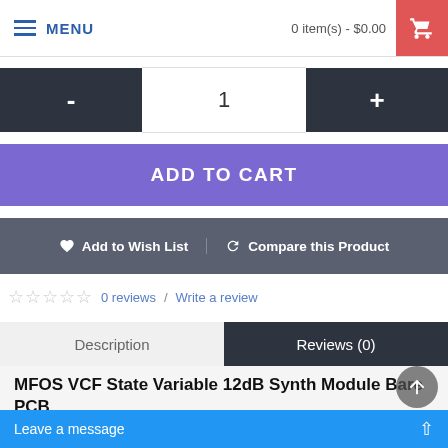MENU | 0 item(s) - $0.00
- 1 +
ADD TO CART
♥ Add to Wish List  ↺ Compare this Product
☆☆☆☆☆  0 reviews / Write a review
Description | Reviews (0)
MFOS VCF State Variable 12dB Synth Module Bare PCB
MFOS VCF State Variable Synth Module Bare PCB
product page: mfos state v…
Leave a message